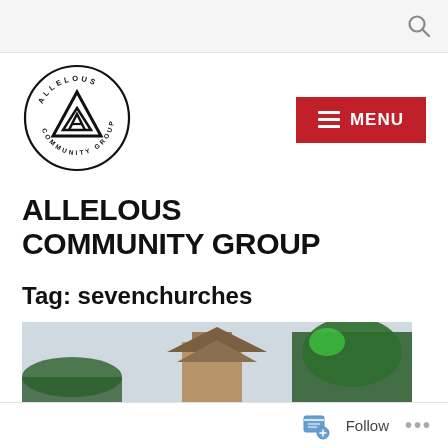[Figure (logo): Allelous Community Group circular logo with mountain/triangle symbol and text around the border]
ALLELOUS COMMUNITY GROUP
Tag: sevenchurches
[Figure (photo): Photo of a church steeple/bell tower against sky with trees]
Follow ...